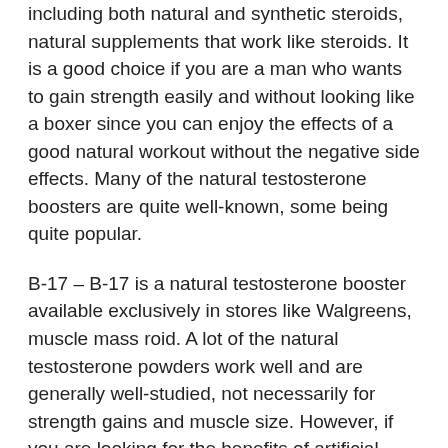including both natural and synthetic steroids, natural supplements that work like steroids. It is a good choice if you are a man who wants to gain strength easily and without looking like a boxer since you can enjoy the effects of a good natural workout without the negative side effects. Many of the natural testosterone boosters are quite well-known, some being quite popular.
B-17 – B-17 is a natural testosterone booster available exclusively in stores like Walgreens, muscle mass roid. A lot of the natural testosterone powders work well and are generally well-studied, not necessarily for strength gains and muscle size. However, if you are looking for the benefits of artificial testosterone without the negative side effects of a synthetic product, B-17 is a good choice, like steroids building muscle pills.